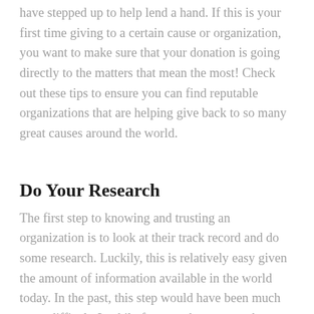have stepped up to help lend a hand. If this is your first time giving to a certain cause or organization, you want to make sure that your donation is going directly to the matters that mean the most! Check out these tips to ensure you can find reputable organizations that are helping give back to so many great causes around the world.
Do Your Research
The first step to knowing and trusting an organization is to look at their track record and do some research. Luckily, this is relatively easy given the amount of information available in the world today. In the past, this step would have been much more difficult. Luckily for you, these research steps won't take up much of your time, and you'll be on your way to supporting your